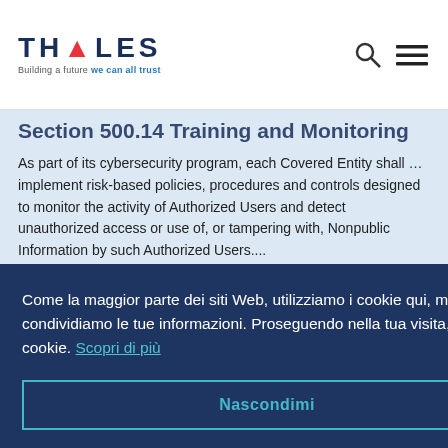THALES — Building a future we can all trust
Section 500.14 Training and Monitoring
As part of its cybersecurity program, each Covered Entity shall … implement risk-based policies, procedures and controls designed to monitor the activity of Authorized Users and detect unauthorized access or use of, or tampering with, Nonpublic Information by such Authorized Users....
Section 500.15 Encryption of Nonpublic
Come la maggior parte dei siti Web, utilizziamo i cookie qui, ma non condividiamo le tue informazioni. Proseguendo nella tua visita, accetti l'uso dei cookie. Scopri di più
Nascondimi